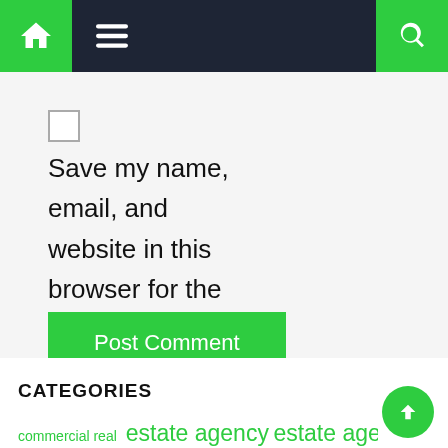[Figure (screenshot): Navigation bar with green home icon on left, dark background with hamburger menu icon in center, and green search icon on right]
Save my name, email, and website in this browser for the next time I comment.
Post Comment
CATEGORIES
commercial real  estate agency  estate agents